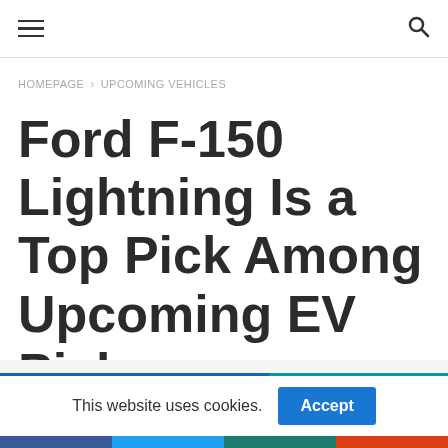≡  🔍
HOMEPAGE > UPCOMING VEHICLES
Ford F-150 Lightning Is a Top Pick Among Upcoming EV Pickups
This website uses cookies. Accept
[Figure (other): Social share bar with Facebook, Twitter, WhatsApp, Reddit icons]